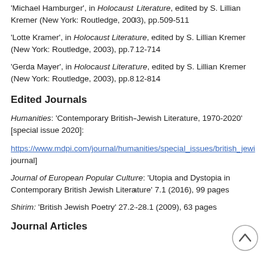'Michael Hamburger', in Holocaust Literature, edited by S. Lillian Kremer (New York: Routledge, 2003), pp.509-511
'Lotte Kramer', in Holocaust Literature, edited by S. Lillian Kremer (New York: Routledge, 2003), pp.712-714
'Gerda Mayer', in Holocaust Literature, edited by S. Lillian Kremer (New York: Routledge, 2003), pp.812-814
Edited Journals
Humanities: 'Contemporary British-Jewish Literature, 1970-2020' [special issue 2020]:
https://www.mdpi.com/journal/humanities/special_issues/british_jewi journal]
Journal of European Popular Culture: 'Utopia and Dystopia in Contemporary British Jewish Literature' 7.1 (2016), 99 pages
Shirim: 'British Jewish Poetry' 27.2-28.1 (2009), 63 pages
Journal Articles